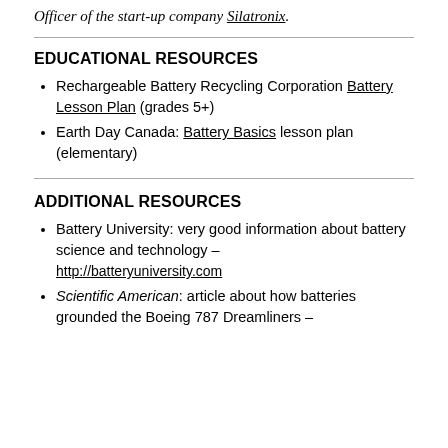Officer of the start-up company Silatronix.
EDUCATIONAL RESOURCES
Rechargeable Battery Recycling Corporation Battery Lesson Plan (grades 5+)
Earth Day Canada: Battery Basics lesson plan (elementary)
ADDITIONAL RESOURCES
Battery University: very good information about battery science and technology – http://batteryuniversity.com
Scientific American: article about how batteries grounded the Boeing 787 Dreamliners –